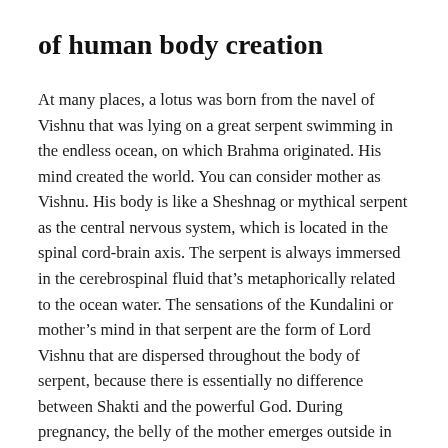of human body creation
At many places, a lotus was born from the navel of Vishnu that was lying on a great serpent swimming in the endless ocean, on which Brahma originated. His mind created the world. You can consider mother as Vishnu. His body is like a Sheshnag or mythical serpent as the central nervous system, which is located in the spinal cord-brain axis. The serpent is always immersed in the cerebrospinal fluid that's metaphorically related to the ocean water. The sensations of the Kundalini or mother's mind in that serpent are the form of Lord Vishnu that are dispersed throughout the body of serpent, because there is essentially no difference between Shakti and the powerful God. During pregnancy, the belly of the mother emerges outside in the navel area, the same is the